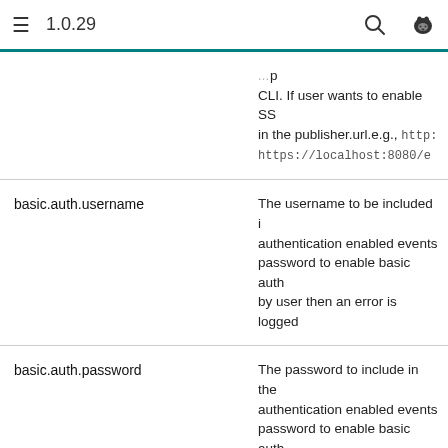1.0.29
| Property | Description |
| --- | --- |
| (partial) | CLI. If user wants to enable SS in the publisher.url e.g., http: https://localhost:8080/e |
| basic.auth.username | The username to be included i authentication enabled events password to enable basic auth by user then an error is logged |
| basic.auth.password | The password to include in the authentication enabled events password to enable basic auth by user then an error is logged |
| https.truststore.file | The file path to the location of HTTP events through 'https' pr specified if required. |